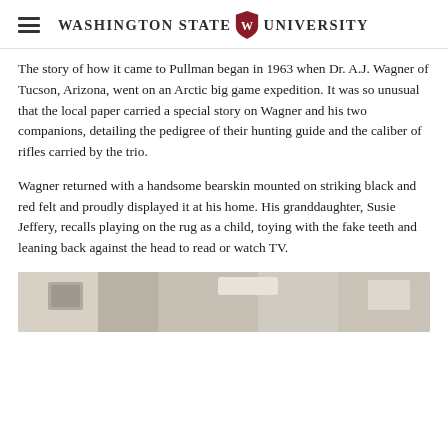Washington State University
The story of how it came to Pullman began in 1963 when Dr. A.J. Wagner of Tucson, Arizona, went on an Arctic big game expedition. It was so unusual that the local paper carried a special story on Wagner and his two companions, detailing the pedigree of their hunting guide and the caliber of rifles carried by the trio.
Wagner returned with a handsome bearskin mounted on striking black and red felt and proudly displayed it at his home. His granddaughter, Susie Jeffery, recalls playing on the rug as a child, toying with the fake teeth and leaning back against the head to read or watch TV.
[Figure (photo): Partial view of an indoor scene, appears to show a rug or display item on a surface, with light-colored walls and shelving visible in the background.]